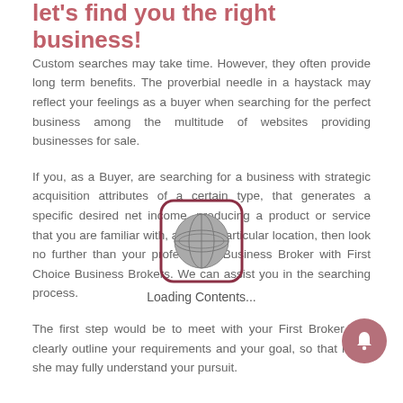let's find you the right business!
Custom searches may take time. However, they often provide long term benefits. The proverbial needle in a haystack may reflect your feelings as a buyer when searching for the perfect business among the multitude of websites providing businesses for sale.
If you, as a Buyer, are searching for a business with strategic acquisition attributes of a certain type, that generates a specific desired net income, producing a product or service that you are familiar with, and in a particular location, then look no further than your professional Business Broker with First Choice Business Brokers. We can assist you in the searching process.
[Figure (illustration): A globe icon inside a rounded rectangle border, with 'Loading Contents...' text below it, overlaid on the text content]
The first step would be to meet with your First Broker and clearly outline your requirements and your goal, so that he or she may fully understand your pursuit.